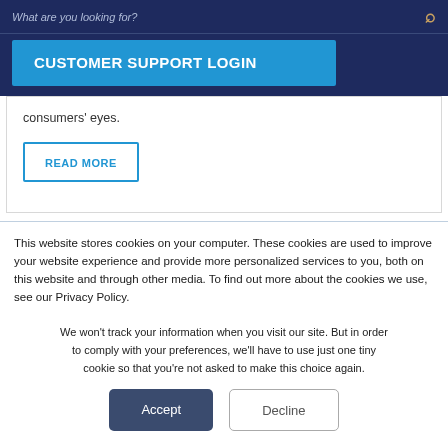What are you looking for?
CUSTOMER SUPPORT LOGIN
consumers' eyes.
READ MORE
This website stores cookies on your computer. These cookies are used to improve your website experience and provide more personalized services to you, both on this website and through other media. To find out more about the cookies we use, see our Privacy Policy.
We won't track your information when you visit our site. But in order to comply with your preferences, we'll have to use just one tiny cookie so that you're not asked to make this choice again.
Accept
Decline